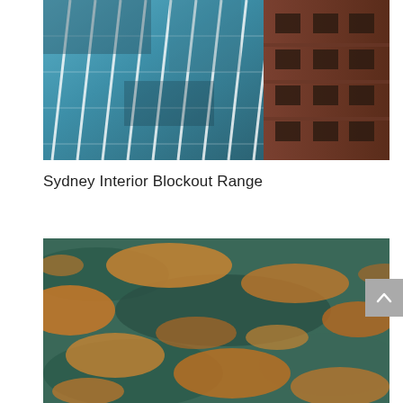[Figure (photo): Upward-looking perspective photo of a glass-and-steel skyscraper with blue reflective windows on the left, and a dark brick building facade on the right, shot from ground level looking up.]
Sydney Interior Blockout Range
[Figure (photo): Aerial photo of a landscape with golden-orange dry vegetation patches and dark teal-green wetland or water areas, viewed from above.]